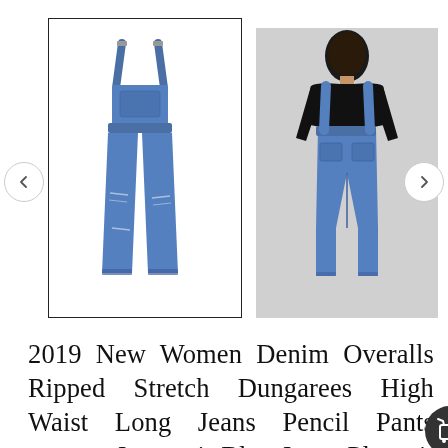[Figure (photo): Two product photos of denim overalls. Left image: standalone product shot of blue ripped denim overalls/jumpsuit on white background, with a rectangular border. Right image: model wearing the same blue denim overalls from the back, paired with a black long-sleeve top. Navigation arrows (left and right) flank the images.]
2019 New Women Denim Overalls Ripped Stretch Dungarees High Waist Long Jeans Pencil Pants Rompers Jumpsuit Blue Jeans Playsuit - Blue - 4M3082837318